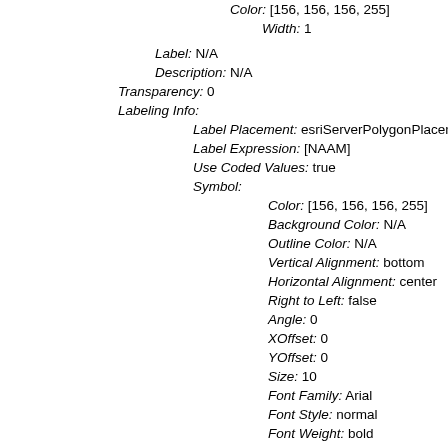Color: [156, 156, 156, 255]
Width: 1
Label: N/A
Description: N/A
Transparency: 0
Labeling Info:
Label Placement: esriServerPolygonPlacementA
Label Expression: [NAAM]
Use Coded Values: true
Symbol:
Color: [156, 156, 156, 255]
Background Color: N/A
Outline Color: N/A
Vertical Alignment: bottom
Horizontal Alignment: center
Right to Left: false
Angle: 0
XOffset: 0
YOffset: 0
Size: 10
Font Family: Arial
Font Style: normal
Font Weight: bold
Font Decoration: none
Min. Scale: 0.0
Max. Scale: 0.0
Advanced Query Capabilities:
Supports Statistics: true